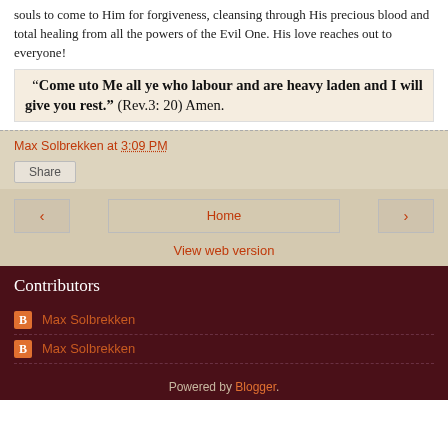souls to come to Him for forgiveness, cleansing through His precious blood and total healing from all the powers of the Evil One. His love reaches out to everyone!
“Come uto Me all ye who labour and are heavy laden and I will give you rest.” (Rev.3: 20) Amen.
Max Solbrekken at 3:09 PM
Share
Home
View web version
Contributors
Max Solbrekken
Max Solbrekken
Powered by Blogger.